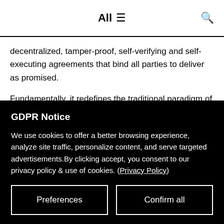All ☰  🔍
decentralized, tamper-proof, self-verifying and self-executing agreements that bind all parties to deliver as promised.
Fundamentally, it redefines the traditional paradigm of trust relationships as it requires no trust in any single party.
GDPR Notice
We use cookies to offer a better browsing experience, analyze site traffic, personalize content, and serve targeted advertisements.By clicking accept, you consent to our privacy policy & use of cookies. (Privacy Policy)
Preferences
Confirm all